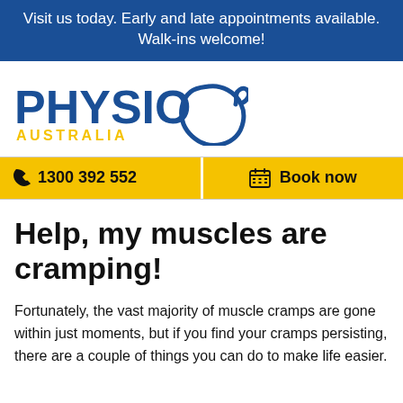Visit us today. Early and late appointments available. Walk-ins welcome!
[Figure (logo): Physio Australia logo with blue PHYSIO text and yellow AUSTRALIA text and kangaroo map outline]
☎ 1300 392 552   📅 Book now
Help, my muscles are cramping!
Fortunately, the vast majority of muscle cramps are gone within just moments, but if you find your cramps persisting, there are a couple of things you can do to make life easier.